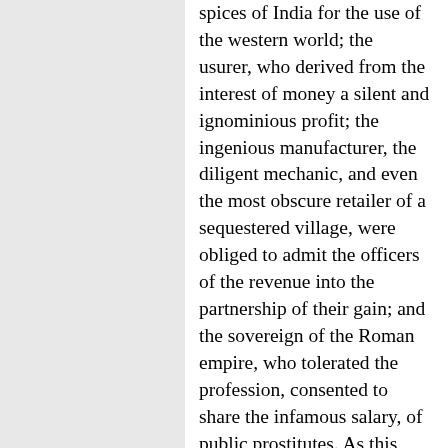spices of India for the use of the western world; the usurer, who derived from the interest of money a silent and ignominious profit; the ingenious manufacturer, the diligent mechanic, and even the most obscure retailer of a sequestered village, were obliged to admit the officers of the revenue into the partnership of their gain; and the sovereign of the Roman empire, who tolerated the profession, consented to share the infamous salary, of public prostitutes. As this general tax upon industry was collected every fourth year, it was styled the Lustral Contribution: and the historian Zosimus laments that the approach of the fatal period was announced by the tears and terrors of the citizens, who were often compelled by the impending